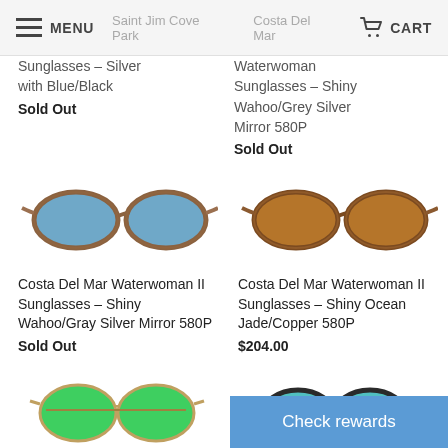MENU  |  (nav links)  |  CART
Sunglasses – Silver with Blue/Black
Sold Out
Waterwoman Sunglasses – Shiny Wahoo/Grey Silver Mirror 580P
Sold Out
[Figure (photo): Costa Del Mar Waterwoman II sunglasses with brown/striped frame and blue mirror lenses, shown from a 3/4 angle]
Costa Del Mar Waterwoman II Sunglasses – Shiny Wahoo/Gray Silver Mirror 580P
Sold Out
[Figure (photo): Costa Del Mar Waterwoman II sunglasses with brown/striped frame and copper lenses, shown from a 3/4 angle]
Costa Del Mar Waterwoman II Sunglasses – Shiny Ocean Jade/Copper 580P
$204.00
[Figure (photo): Partial view of green mirrored aviator-style sunglasses at bottom left]
[Figure (photo): Partial view of dark frame sunglasses at bottom right]
Check rewards